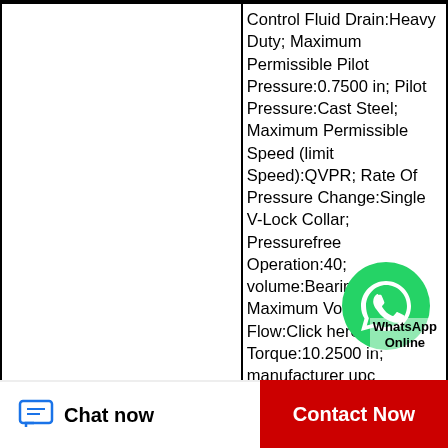|  | Control Fluid Drain:Heavy Duty; Maximum Permissible Pilot Pressure:0.7500 in; Pilot Pressure:Cast Steel; Maximum Permissible Speed (limit Speed):QVPR; Rate Of Pressure Change:Single V-Lock Collar; Pressurefree Operation:40; volume:Bearing Steel; Maximum Volume Flow:Click here; Torque:10.2500 in; manufacturer upc number:883450175593; |
|  | Determining Operating |
Chat now
Contact Now